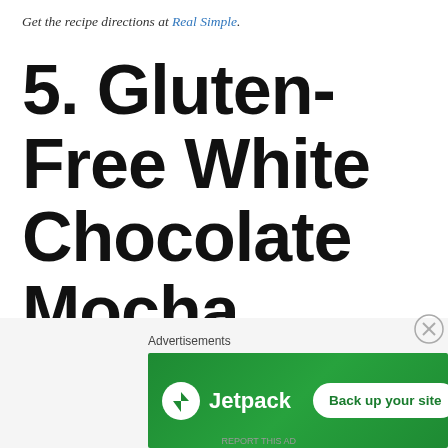Get the recipe directions at Real Simple.
5. Gluten-Free White Chocolate Mocha Brownies
[Figure (photo): A close-up photo of a chocolate brownie, partially visible at the bottom of the page.]
Advertisements
[Figure (logo): Jetpack advertisement banner with green background, Jetpack logo on the left, and a white 'Back up your site' button on the right.]